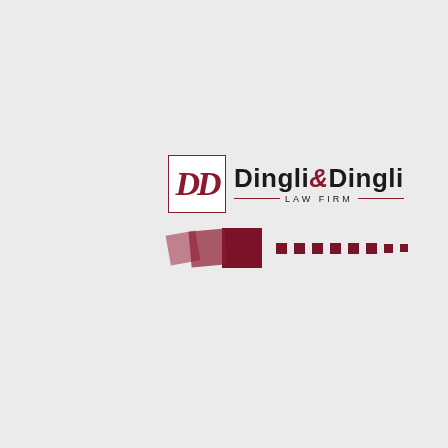[Figure (logo): Dingli & Dingli Law Firm logo. A bordered square containing stylized italic 'DD' letters in dark red/maroon, next to bold text 'Dingli&Dingli' with an italic ampersand in maroon, and 'LAW FIRM' in small spaced capitals below with flanking horizontal rules. Below the logo is a decorative row of three overlapping squares (light pink, medium maroon, dark maroon) followed by a row of dark maroon square dots decreasing in size.]